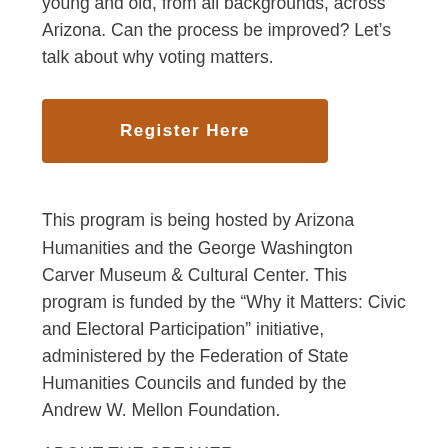young and old, from all backgrounds, across Arizona. Can the process be improved? Let's talk about why voting matters.
Register Here
This program is being hosted by Arizona Humanities and the George Washington Carver Museum & Cultural Center. This program is funded by the “Why it Matters: Civic and Electoral Participation” initiative, administered by the Federation of State Humanities Councils and funded by the Andrew W. Mellon Foundation.
ABOUT THE SPEAKER:
Adrian Fontes was the 29th Maricopa County Recorder and is an attorney and an Honorably